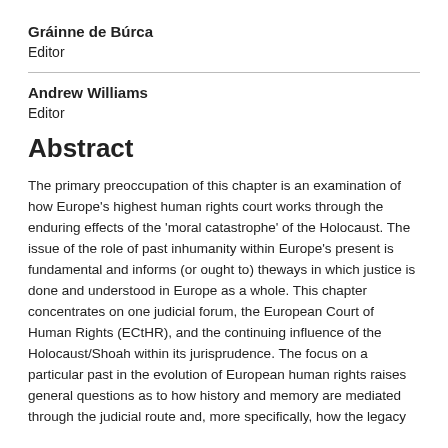Gráinne de Búrca
Editor
Andrew Williams
Editor
Abstract
The primary preoccupation of this chapter is an examination of how Europe's highest human rights court works through the enduring effects of the 'moral catastrophe' of the Holocaust. The issue of the role of past inhumanity within Europe's present is fundamental and informs (or ought to) theways in which justice is done and understood in Europe as a whole. This chapter concentrates on one judicial forum, the European Court of Human Rights (ECtHR), and the continuing influence of the Holocaust/Shoah within its jurisprudence. The focus on a particular past in the evolution of European human rights raises general questions as to how history and memory are mediated through the judicial route and, more specifically, how the legacy of Auschwitz has changed the human rights culture which...